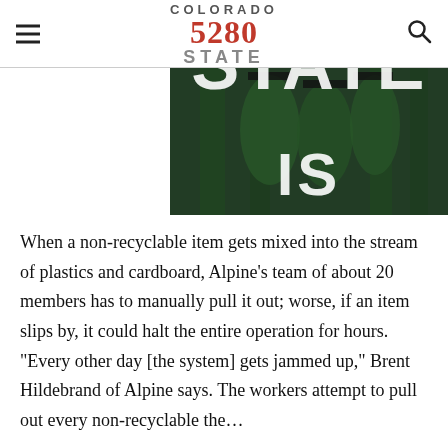COLORADO 5280 STATE
[Figure (photo): Graduation photo showing students in green caps and gowns walking outdoors, with overlaid large white text reading COLORADO STATE IS]
When a non-recyclable item gets mixed into the stream of plastics and cardboard, Alpine’s team of about 20 members has to manually pull it out; worse, if an item slips by, it could halt the entire operation for hours. “Every other day [the system] gets jammed up,” Brent Hildebrand of Alpine says. The workers attempt to pull out every non-recyclable the…